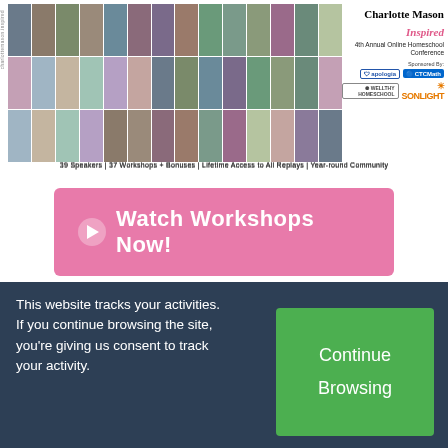[Figure (photo): Grid of 39 speaker headshot photos arranged in 3 rows, with conference branding and sponsor logos on the right side. Charlotte Mason Inspired 4th Annual Online Homeschool Conference. Sponsored by: Apologia, CTCMath, and Sonlight.]
39 Speakers | 37 Workshops + Bonuses | Lifetime Access to All Replays | Year-round Community
[Figure (other): Pink button with play icon reading 'Watch Workshops Now!']
30 WAYS WE HOMESCHOOL, HOMESCHOOLING
Our Unhurried
This website tracks your activities. If you continue browsing the site, you’re giving us consent to track your activity.
Continue

Browsing